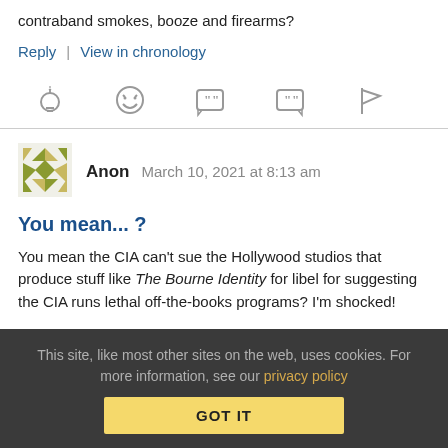contraband smokes, booze and firearms?
Reply | View in chronology
[Figure (other): Row of reaction/action icons: lightbulb, laughing emoji, quote bubble, quote bubble, flag]
[Figure (other): Anon user avatar - geometric green/yellow pattern]
Anon   March 10, 2021 at 8:13 am
You mean... ?
You mean the CIA can't sue the Hollywood studios that produce stuff like The Bourne Identity for libel for suggesting the CIA runs lethal off-the-books programs? I'm shocked!
This site, like most other sites on the web, uses cookies. For more information, see our privacy policy
GOT IT